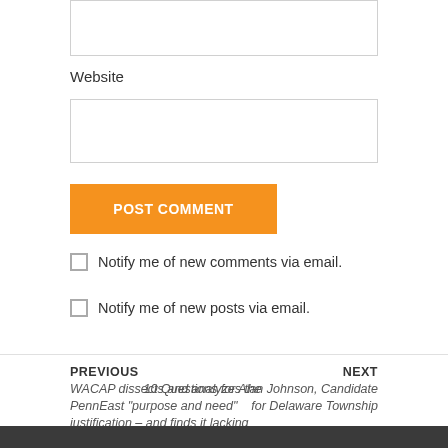Website
POST COMMENT
Notify me of new comments via email.
Notify me of new posts via email.
PREVIOUS
WACAP dissects and analyzes the PennEast “purpose and need” justification – and finds it lacking
NEXT
10 Questions for Alan Johnson, Candidate for Delaware Township